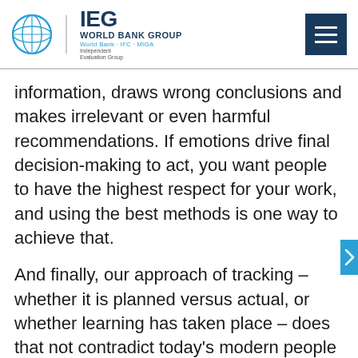IEG World Bank Group — Independent Evaluation Group
information, draws wrong conclusions and makes irrelevant or even harmful recommendations. If emotions drive final decision-making to act, you want people to have the highest respect for your work, and using the best methods is one way to achieve that.
And finally, our approach of tracking – whether it is planned versus actual, or whether learning has taken place – does that not contradict today's modern people who derive pride out of their work, are self-motivated and thrive in a culture of autonomy, mastery and purpose? Maybe this